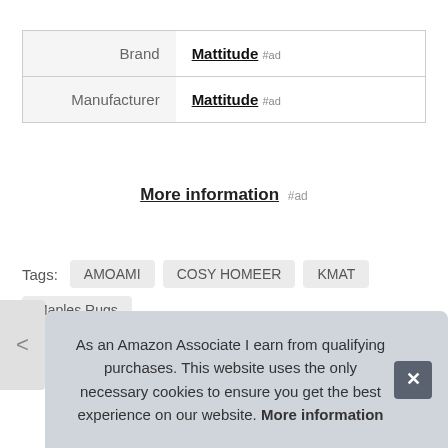| Brand | Mattitude #ad |
| Manufacturer | Mattitude #ad |
More information #ad
Tags: AMOAMI  COSY HOMEER  KMAT  Maples Rugs  Mattitude  MontVoo
As an Amazon Associate I earn from qualifying purchases. This website uses the only necessary cookies to ensure you get the best experience on our website. More information